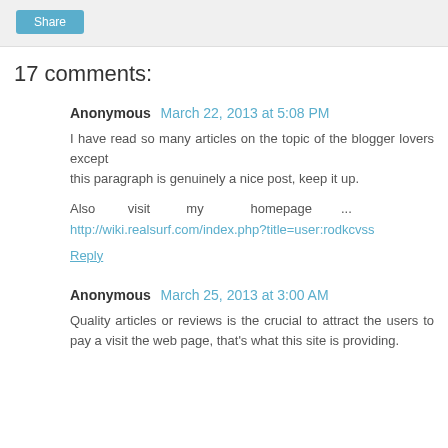Share
17 comments:
Anonymous March 22, 2013 at 5:08 PM
I have read so many articles on the topic of the blogger lovers except
this paragraph is genuinely a nice post, keep it up.

Also visit my homepage ...
http://wiki.realsurf.com/index.php?title=user:rodkcvss

Reply
Anonymous March 25, 2013 at 3:00 AM
Quality articles or reviews is the crucial to attract the users to pay a visit the web page, that's what this site is providing.